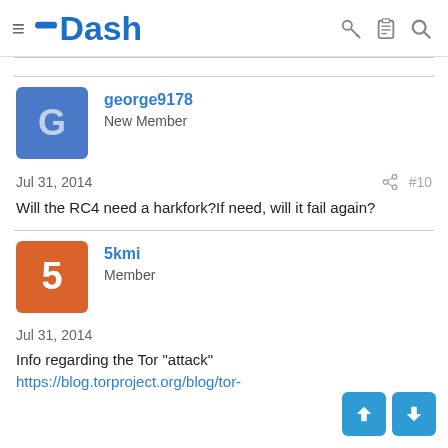Dash — navigation header with menu, logo, key, clipboard, and search icons
george9178
New Member
Jul 31, 2014
#10
Will the RC4 need a harkfork?If need, will it fail again?
5kmi
Member
Jul 31, 2014
Info regarding the Tor "attack" https://blog.torproject.org/blog/tor-